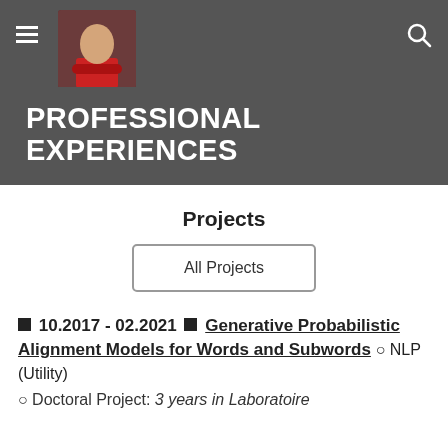PROFESSIONAL EXPERIENCES
Projects
All Projects
10.2017 - 02.2021 ■ Generative Probabilistic Alignment Models for Words and Subwords ○ NLP (Utility) ○ Doctoral Project: 3 years in Laboratoire